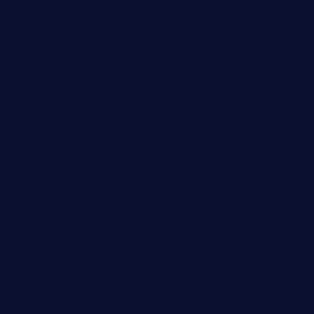Chocques : Chocques Military Cemetery
La Couture Vieille Chapelle : Cemetery
Cuinchy : Cuinchy Communal Cemetery ; Guard's Cemetery, Windy Corner
Estrée-Cauchy Quatre Vents : Military Cemetery
Festubert : Brown's Road Military Cemetery
Fleurbaix Le Trou : Aid Post Cemetery ; du Bois Military Cemetery ; Rue Cemetery
Fouquières-lès-Béthune : Fouquières-lès-Béthune Cemetery
Gonnehem : Gonnehem British Cemetery
Haisnes Bois-Carré : Military Cemetery ; Advanced Dressing Station Cemetery
Hinges : Hinges Military Cemetery
Le Vertannoy : British Cemetery
Houchin : Houchin British Cemetery
Labeuvrière : Sandpits British Cemetery
Lapugnoy : Lapugnoy Military Cemetery
Laventie : Euston Post Cemetery
Fauquissart : Military Cemetery